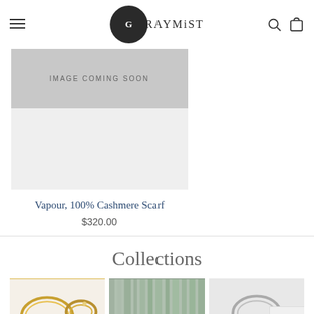GRAYMIST — navigation header with menu icon, logo, search and bag icons
[Figure (other): Product image placeholder reading 'IMAGE COMING SOON' with gray background]
Vapour, 100% Cashmere Scarf
$320.00
Collections
[Figure (photo): Gold jewelry items — bangles and rings on white background]
[Figure (photo): Fabric/textile texture in green and gray tones]
[Figure (photo): Silver jewelry item on light background with back-to-top button overlay]